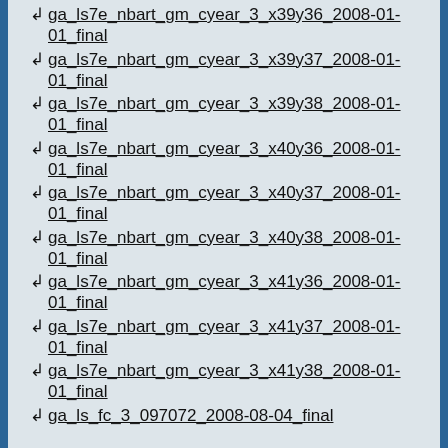↲ ga_ls7e_nbart_gm_cyear_3_x39y36_2008-01-01_final
↲ ga_ls7e_nbart_gm_cyear_3_x39y37_2008-01-01_final
↲ ga_ls7e_nbart_gm_cyear_3_x39y38_2008-01-01_final
↲ ga_ls7e_nbart_gm_cyear_3_x40y36_2008-01-01_final
↲ ga_ls7e_nbart_gm_cyear_3_x40y37_2008-01-01_final
↲ ga_ls7e_nbart_gm_cyear_3_x40y38_2008-01-01_final
↲ ga_ls7e_nbart_gm_cyear_3_x41y36_2008-01-01_final
↲ ga_ls7e_nbart_gm_cyear_3_x41y37_2008-01-01_final
↲ ga_ls7e_nbart_gm_cyear_3_x41y38_2008-01-01_final
↲ ga_ls_fc_3_097072_2008-08-04_final